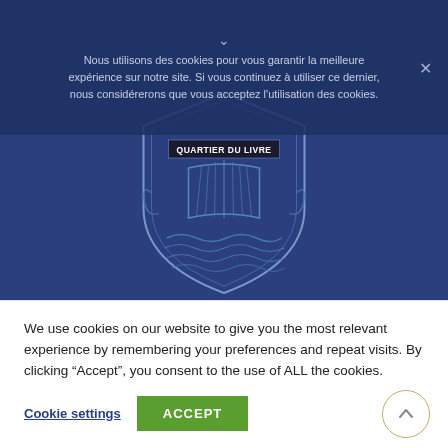Nous utilisons des cookies pour vous garantir la meilleure expérience sur notre site. Si vous continuez à utiliser ce dernier, nous considérerons que vous acceptez l'utilisation des cookies.
[Figure (logo): Quartier du Livre shield logo with book and water waves, text QUARTIER DU LIVRE at top]
[Figure (screenshot): Navigation bar with search icon (magnifying glass) on left and hamburger menu icon on right, dark blue background]
We use cookies on our website to give you the most relevant experience by remembering your preferences and repeat visits. By clicking "Accept", you consent to the use of ALL the cookies.
Cookie settings
ACCEPT